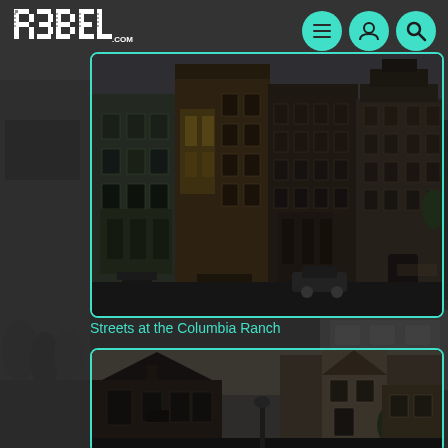[Figure (logo): R3BEL.COM logo in white pixelated/blocky text]
[Figure (illustration): Three teal circular navigation icon buttons: hamburger menu, user/profile, and search/magnifier]
[Figure (photo): Street scene showing multi-story Victorian/row buildings at Columbia Ranch, with cars parked on street, bracketed by teal border]
Streets at the Columbia Ranch
[Figure (photo): Second photo showing low rooftop buildings with a stone tower structure at Columbia Ranch, teal border]